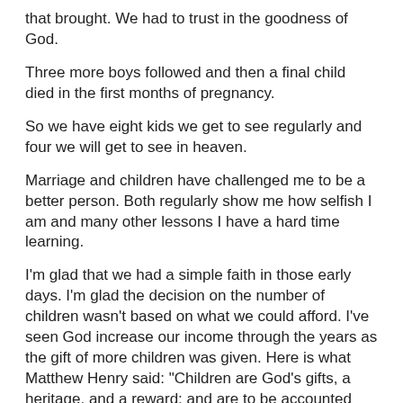that brought. We had to trust in the goodness of God.
Three more boys followed and then a final child died in the first months of pregnancy.
So we have eight kids we get to see regularly and four we will get to see in heaven.
Marriage and children have challenged me to be a better person. Both regularly show me how selfish I am and many other lessons I have a hard time learning.
I'm glad that we had a simple faith in those early days. I'm glad the decision on the number of children wasn't based on what we could afford. I've seen God increase our income through the years as the gift of more children was given. Here is what Matthew Henry said: "Children are God's gifts, a heritage, and a reward; and are to be accounted blessings, and not burdens: he who sends mouths, will send meat, if we trust in him." I've not always been faithful in taking advantage of the opportunities that God has given but that has been my fault and not His.